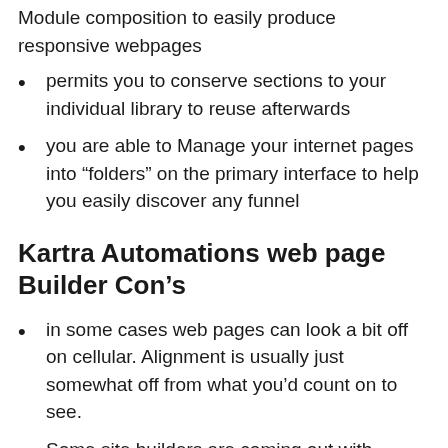Module composition to easily produce responsive webpages
permits you to conserve sections to your individual library to reuse afterwards
you are able to Manage your internet pages into “folders” on the primary interface to help you easily discover any funnel
Kartra Automations web page Builder Con’s
in some cases web pages can look a bit off on cellular. Alignment is usually just somewhat off from what you’d count on to see.
Some site builders are coming out with